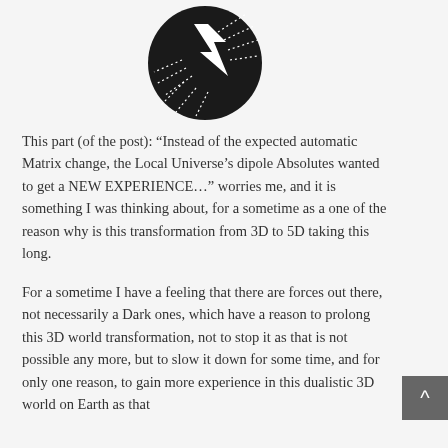[Figure (logo): Black circular logo with white lightning bolt / arrow design and dotted lines radiating outward]
This part (of the post): “Instead of the expected automatic Matrix change, the Local Universe’s dipole Absolutes wanted to get a NEW EXPERIENCE…” worries me, and it is something I was thinking about, for a sometime as a one of the reason why is this transformation from 3D to 5D taking this long.
For a sometime I have a feeling that there are forces out there, not necessarily a Dark ones, which have a reason to prolong this 3D world transformation, not to stop it as that is not possible any more, but to slow it down for some time, and for only one reason, to gain more experience in this dualistic 3D world on Earth as that